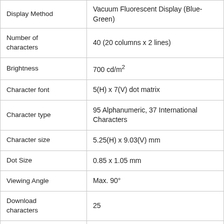| Property | Value |
| --- | --- |
| Display Method | Vacuum Fluorescent Display (Blue-Green) |
| Number of characters | 40 (20 columns x 2 lines) |
| Brightness | 700 cd/m² |
| Character font | 5(H) x 7(V) dot matrix |
| Character type | 95 Alphanumeric, 37 International Characters |
| Character size | 5.25(H) x 9.03(V) mm |
| Dot Size | 0.85 x 1.05 mm |
| Viewing Angle | Max. 90° |
| Download characters | 25 |
| Module Dimension | 204(H) x 47.9(V) x 33(D) mm |